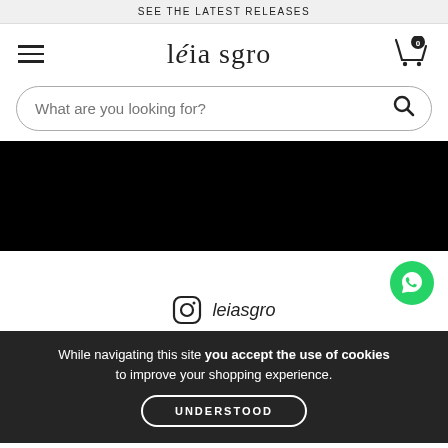SEE THE LATEST RELEASES
léia sgro
What are you looking for?
[Figure (photo): Black hero banner image]
[Figure (logo): Instagram icon with handle 'leiasgro']
While navigating this site you accept the use of cookies to improve your shopping experience.
UNDERSTOOD